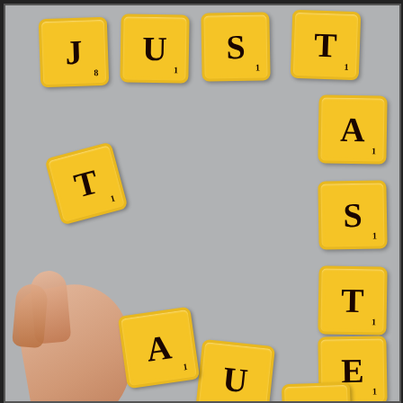[Figure (photo): Photograph of yellow Scrabble-style letter cookies arranged on a gray background spelling 'JUST A TASTE'. A hand is placing an 'A' tile. Letters visible include J, U, S, T (top row), T (left side), A, S, T, E (right column), A (being placed by hand), and U, partially visible bottom tiles.]